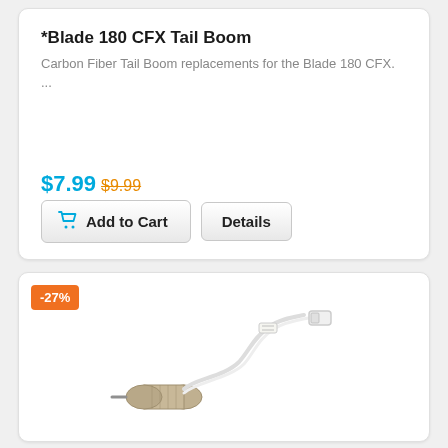*Blade 180 CFX Tail Boom
Carbon Fiber Tail Boom replacements for the Blade 180 CFX. ...
$7.99 $9.99
[Figure (photo): Small cylindrical motor with white wire and connector]
-27%